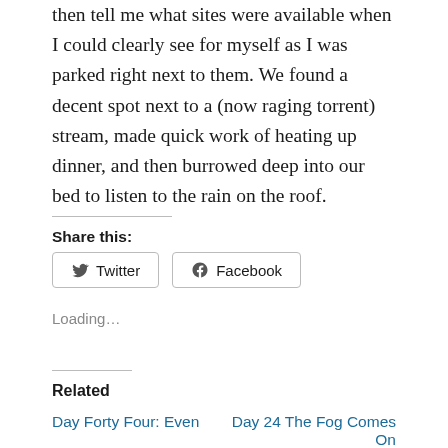then tell me what sites were available when I could clearly see for myself as I was parked right next to them. We found a decent spot next to a (now raging torrent) stream, made quick work of heating up dinner, and then burrowed deep into our bed to listen to the rain on the roof.
Share this:
[Figure (other): Twitter and Facebook share buttons]
Loading…
Related
Day Forty Four: Even
Day 24 The Fog Comes On